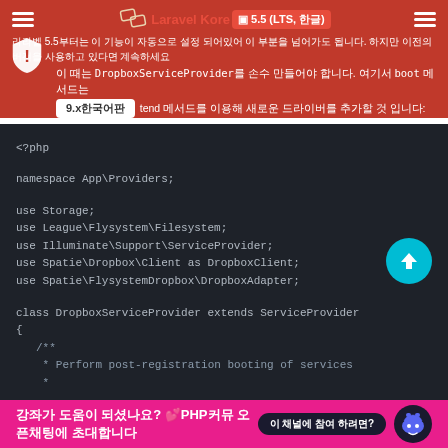라라벨 5.5부터는 이 기능이 자동으로 설정 되어있어 이 부분을 넘어가도 됩니다. 하지만 이전의 버전을 사용하고 있다면 계속하세요
이 때는 DropboxServiceProvider를 손수 만들어야 합니다. 여기서 boot 메서드는 Storage 파사드의 extend 메서드를 이용해 새로운 드라이버를 추가할 것 입니다:
[Figure (screenshot): PHP code block showing namespace App\Providers, use statements for Storage, League\Flysystem\Filesystem, Illuminate\Support\ServiceProvider, Spatie\Dropbox\Client as DropboxClient, Spatie\FlysystemDropbox\DropboxAdapter, and class DropboxServiceProvider extends ServiceProvider with a boot method comment]
강좌가 도움이 되셨나요? 💕PHP커뮤 오픈채팅에 초대합니다